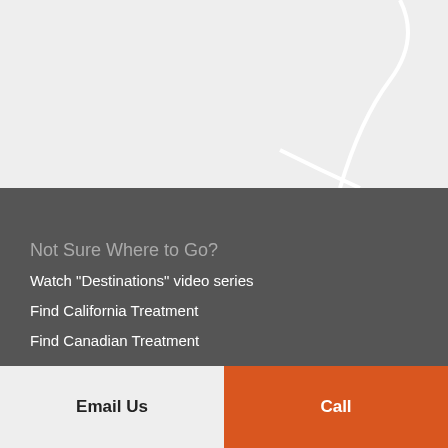[Figure (map): Partial map background in light gray with road/path lines visible]
Not Sure Where to Go?
Watch "Destinations" video series
Find California Treatment
Find Canadian Treatment
Find UK Treatment
Email Us
Call